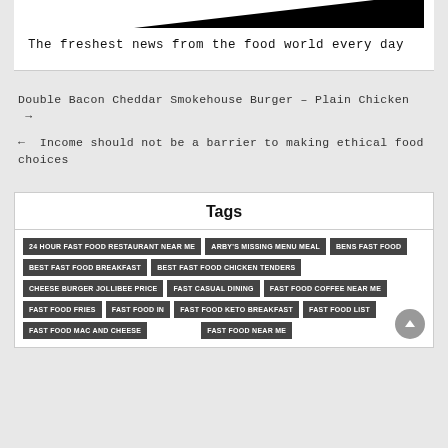[Figure (illustration): Partial black shape visible at top of white card, resembling a logo or image cutoff]
The freshest news from the food world every day
Double Bacon Cheddar Smokehouse Burger – Plain Chicken →
← Income should not be a barrier to making ethical food choices
Tags
24 HOUR FAST FOOD RESTAURANT NEAR ME
ARBY'S MISSING MENU MEAL
BENS FAST FOOD
BEST FAST FOOD BREAKFAST
BEST FAST FOOD CHICKEN TENDERS
CHEESE BURGER JOLLIBEE PRICE
FAST CASUAL DINING
FAST FOOD COFFEE NEAR ME
FAST FOOD FRIES
FAST FOOD IN
FAST FOOD KETO BREAKFAST
FAST FOOD LIST
FAST FOOD MAC AND CHEESE
FAST FOOD NEAR ME